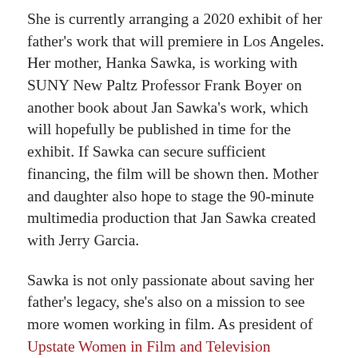She is currently arranging a 2020 exhibit of her father's work that will premiere in Los Angeles. Her mother, Hanka Sawka, is working with SUNY New Paltz Professor Frank Boyer on another book about Jan Sawka's work, which will hopefully be published in time for the exhibit. If Sawka can secure sufficient financing, the film will be shown then. Mother and daughter also hope to stage the 90-minute multimedia production that Jan Sawka created with Jerry Garcia.
Sawka is not only passionate about saving her father's legacy, she's also on a mission to see more women working in film. As president of Upstate Women in Film and Television (UWFT), she...